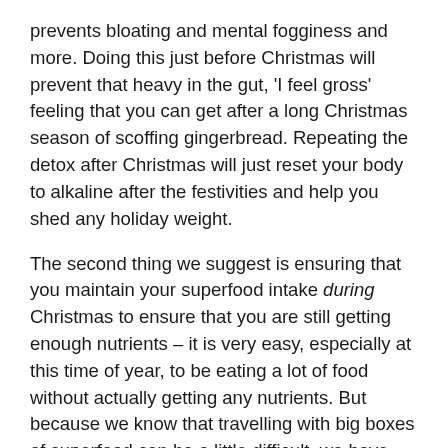prevents bloating and mental fogginess and more. Doing this just before Christmas will prevent that heavy in the gut, 'I feel gross' feeling that you can get after a long Christmas season of scoffing gingerbread. Repeating the detox after Christmas will just reset your body to alkaline after the festivities and help you shed any holiday weight.
The second thing we suggest is ensuring that you maintain your superfood intake during Christmas to ensure that you are still getting enough nutrients – it is very easy, especially at this time of year, to be eating a lot of food without actually getting any nutrients. But because we know that travelling with big boxes of superfood can be a little difficult, we have put on two Christmas Specials that include free Complex Berry superfood or protein sachets, - these are single-serve travel sized packages, perfect for slipping into your handbag on the plane, or into your suitcase.